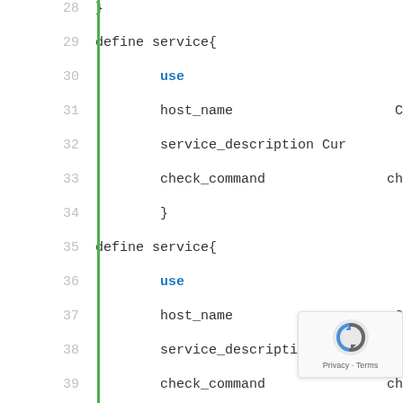Code listing showing Nagios service definitions, lines 28-52, with define service blocks containing use, host_name, service_description, and check_command fields